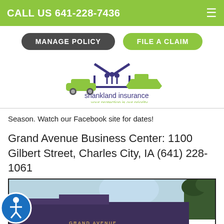CALL US 641-228-7436
MANAGE POLICY
FILE A CLAIM
[Figure (logo): Shankland Insurance logo: house outline with people figures inside, green car on left, green boat on right, text 'shankland insurance your protection is our priority']
Season. Watch our Facebook site for dates!
Grand Avenue Business Center: 1100 Gilbert Street, Charles City, IA (641) 228-1061
[Figure (photo): Exterior photo of Grand Avenue Business Center building, a dark purple/maroon multi-story commercial building with 'GRAND AVENUE' signage, trees visible on right side, sky in background]